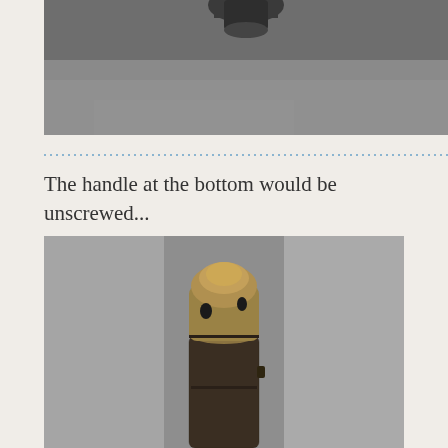[Figure (photo): Close-up photo of a metal object against a gray background, partially cropped at top of page]
The handle at the bottom would be unscrewed...
[Figure (photo): Close-up photo of a brass/bronze cylindrical object with holes near top, showing threaded sections, against gray background]